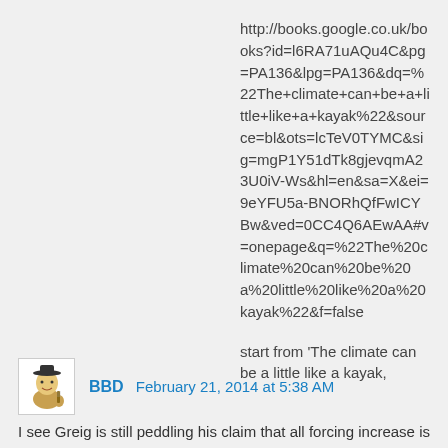http://books.google.co.uk/books?id=l6RA71uAQu4C&pg=PA136&lpg=PA136&dq=%22The+climate+can+be+a+little+like+a+kayak%22&source=bl&ots=lcTeV0TYMC&sig=mgP1Y51dTk8gjevqmA23U0iV-Ws&hl=en&sa=X&ei=9eYFU5a-BNORhQfFwICYBw&ved=0CC4Q6AEwAA#v=onepage&q=%22The%20climate%20can%20be%20a%20little%20like%20a%20kayak%22&f=false
start from 'The climate can be a little like a kayak,
BBD February 21, 2014 at 5:38 AM
I see Greig is still peddling his claim that all forcing increase is buffered by deep ocean heating for millennia, so TCR is negligible and ECS so distant a concern as to be irrelevant. This is a gross misrepresentation of the way the forced climate system responds as any climatologist or paleoclimatologist will confirm.